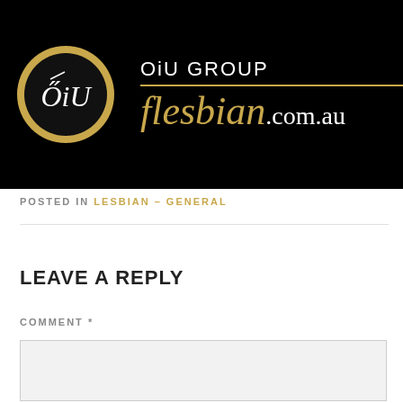[Figure (logo): OiU Group / flesbian.com.au website header banner on black background. Circular gold-rimmed logo with OiU monogram on the left. Brand name 'OiU GROUP' in white text, gold horizontal line, and 'flesbian.com.au' in gold/white serif text on the right.]
POSTED IN LESBIAN – GENERAL
LEAVE A REPLY
COMMENT *